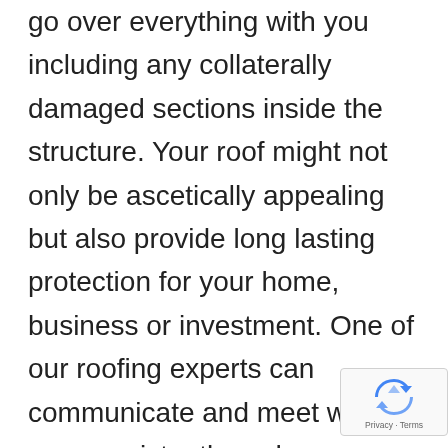go over everything with you including any collaterally damaged sections inside the structure. Your roof might not only be ascetically appealing but also provide long lasting protection for your home, business or investment. One of our roofing experts can communicate and meet with you consistently and as your project advances and can meet with you again to go over details of an insurance adjuster's summary – if there's an insurance claim
[Figure (logo): reCAPTCHA badge with rotating arrows logo icon and Privacy · Terms text]